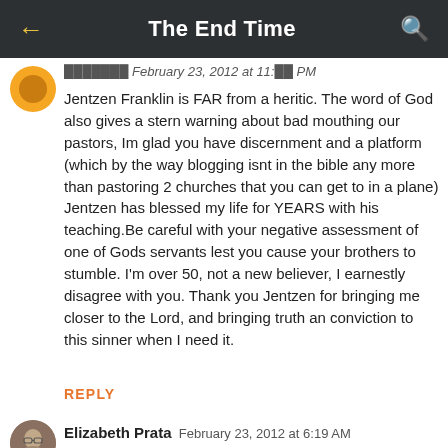The End Time
Jentzen Franklin is FAR from a heritic. The word of God also gives a stern warning about bad mouthing our pastors, Im glad you have discernment and a platform (which by the way blogging isnt in the bible any more than pastoring 2 churches that you can get to in a plane) Jentzen has blessed my life for YEARS with his teaching.Be careful with your negative assessment of one of Gods servants lest you cause your brothers to stumble. I'm over 50, not a new believer, I earnestly disagree with you. Thank you Jentzen for bringing me closer to the Lord, and bringing truth an conviction to this sinner when I need it.
REPLY
Elizabeth Prata  February 23, 2012 at 6:19 AM
The bible does give warnings about bad